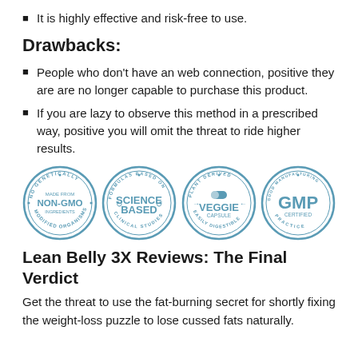It is highly effective and risk-free to use.
Drawbacks:
People who don't have an web connection, positive they are are no longer capable to purchase this product.
If you are lazy to observe this method in a prescribed way, positive you will omit the threat to ride higher results.
[Figure (illustration): Four circular badges: NON-GMO INGREDIENTS (no genetically modified organisms), SCIENCE BASED (formulas based on clinical studies), VEGGIE CAPSULE (plant derived, easily digestible), GMP CERTIFIED (good manufacturing practice)]
Lean Belly 3X Reviews: The Final Verdict
Get the threat to use the fat-burning secret for shortly fixing the weight-loss puzzle to lose cussed fats naturally.